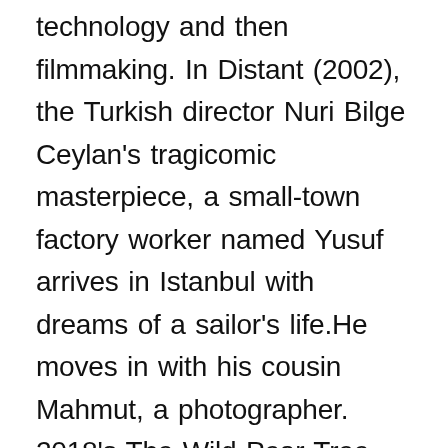technology and then filmmaking. In Distant (2002), the Turkish director Nuri Bilge Ceylan's tragicomic masterpiece, a small-town factory worker named Yusuf arrives in Istanbul with dreams of a sailor's life.He moves in with his cousin Mahmut, a photographer. 2018's The Wild Pear Tree was only Nuri Bilge Ceylan's eighth feature, yet already he has been honoured with retrospectives at the Sarajevo Film Festival, BFI and MoMA. Of toch niet? He has ranked on the list of those famous